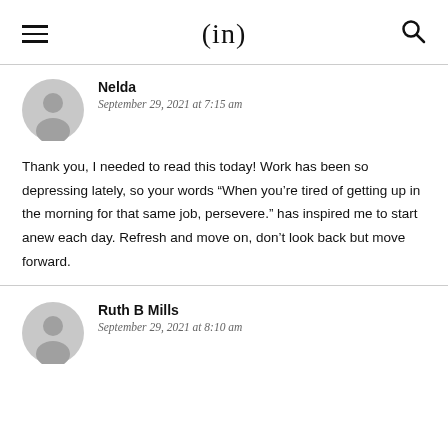(in)
Nelda
September 29, 2021 at 7:15 am
Thank you, I needed to read this today! Work has been so depressing lately, so your words “When you’re tired of getting up in the morning for that same job, persevere.” has inspired me to start anew each day. Refresh and move on, don’t look back but move forward.
Ruth B Mills
September 29, 2021 at 8:10 am